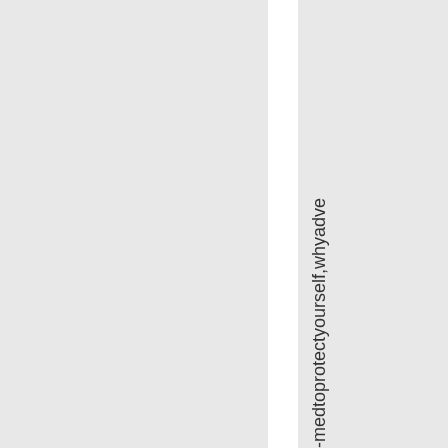-med to protect yourself, why adve